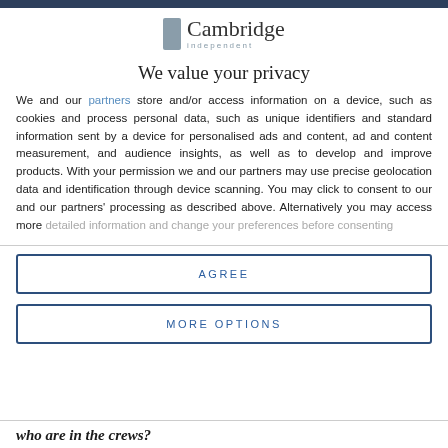[Figure (logo): Cambridge Independent logo with grey rectangle icon and serif text]
We value your privacy
We and our partners store and/or access information on a device, such as cookies and process personal data, such as unique identifiers and standard information sent by a device for personalised ads and content, ad and content measurement, and audience insights, as well as to develop and improve products. With your permission we and our partners may use precise geolocation data and identification through device scanning. You may click to consent to our and our partners' processing as described above. Alternatively you may access more detailed information and change your preferences before consenting
AGREE
MORE OPTIONS
who are in the crews?